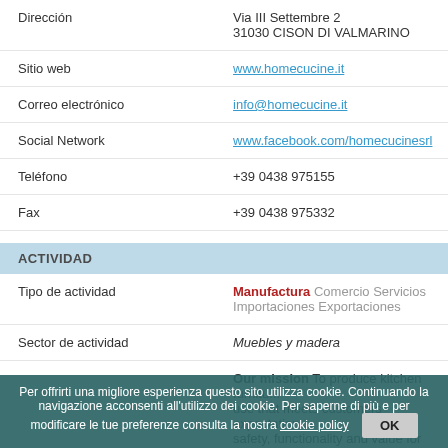| Dirección | Via III Settembre 2
31030 CISON DI VALMARINO |
| Sitio web | www.homecucine.it |
| Correo electrónico | info@homecucine.it |
| Social Network | www.facebook.com/homecucinesrl |
| Teléfono | +39 0438 975155 |
| Fax | +39 0438 975332 |
ACTIVIDAD
| Tipo de actividad | Manufactura  Comercio  Servicios  Importaciones  Exportaciones |
| Sector de actividad | Muebles y madera |
|  | Our mission To produce kitchen furniture for everyday use that meets customers' expectations in terms of safety, functionality and value for money. Through continuous improvement of internal skills... aims to offer customers highly innovati... |
Per offrirti una migliore esperienza questo sito utilizza cookie. Continuando la navigazione acconsenti all'utilizzo dei cookie. Per saperne di più e per modificare le tue preferenze consulta la nostra cookie policy  OK